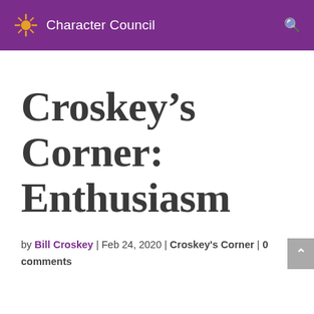Character Council
Croskey's Corner: Enthusiasm
by Bill Croskey | Feb 24, 2020 | Croskey's Corner | 0 comments